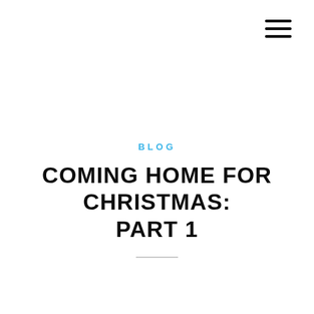[Figure (other): Hamburger menu icon (three horizontal lines) in top-right corner]
BLOG
COMING HOME FOR CHRISTMAS: PART 1